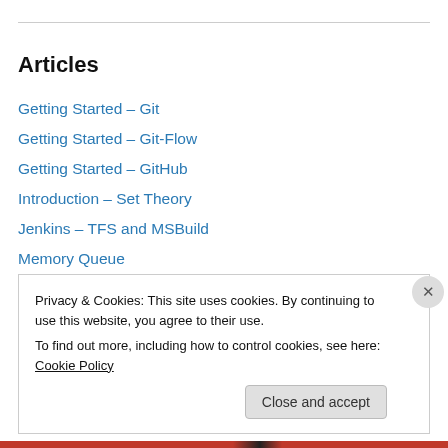Articles
Getting Started – Git
Getting Started – Git-Flow
Getting Started – GitHub
Introduction – Set Theory
Jenkins – TFS and MSBuild
Memory Queue
MongoDB – Introduction
MongoDB – Replica Sets
MongoDB – Sharding
Numerical Systems
Privacy & Cookies: This site uses cookies. By continuing to use this website, you agree to their use.
To find out more, including how to control cookies, see here: Cookie Policy
Close and accept